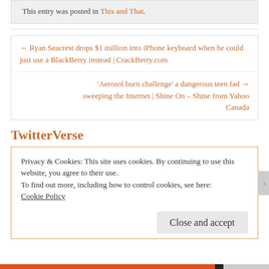This entry was posted in This and That.
← Ryan Seacrest drops $1 million into iPhone keyboard when he could just use a BlackBerry instead | CrackBerry.com
'Aerosol burn challenge' a dangerous teen fad → sweeping the Internet | Shine On – Shine from Yahoo Canada
TwitterVerse
Privacy & Cookies: This site uses cookies. By continuing to use this website, you agree to their use.
To find out more, including how to control cookies, see here:
Cookie Policy
Close and accept